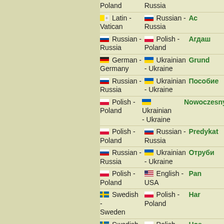| Language 1 | Language 2 | Word |
| --- | --- | --- |
| Poland | Russia |  |
| Latin - Vatican | Russian - Russia | Ас |
| Russian - Russia | Polish - Poland | Агдаш |
| German - Germany | Ukrainian - Ukraine | Grund |
| Russian - Russia | Ukrainian - Ukraine | Пособие |
| Polish - Poland | Ukrainian - Ukraine | Nowoczesny |
| Polish - Poland | Russian - Russia | Predykat |
| Russian - Russia | Ukrainian - Ukraine | Отруби |
| Polish - Poland | English - USA | Pan |
| Swedish - Sweden | Polish - Poland | Har |
| Swedish - Sweden | Polish - Poland | Hos |
| Polish - Poland | Ukrainian - Ukraine | Styczeń |
| Russian - | Polish - | Агенс |